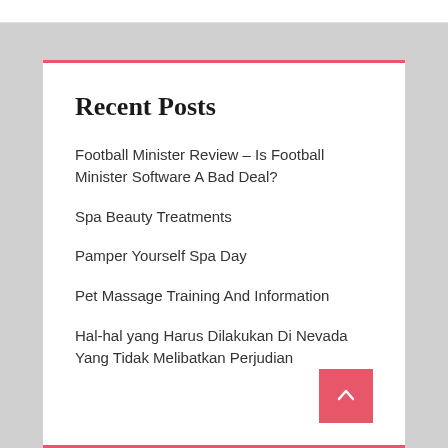Recent Posts
Football Minister Review – Is Football Minister Software A Bad Deal?
Spa Beauty Treatments
Pamper Yourself Spa Day
Pet Massage Training And Information
Hal-hal yang Harus Dilakukan Di Nevada Yang Tidak Melibatkan Perjudian